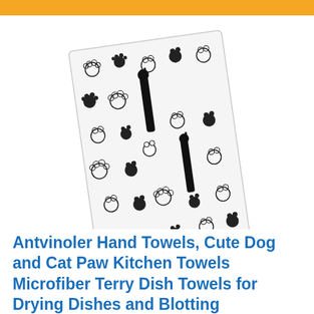[Figure (photo): A hand towel with a cute dog and cat paw print pattern in black and white, shown at an angle against a white background. The towel features repeating paw prints, cat/dog silhouettes, and various sized circular paw marks across its surface.]
Antvinoler Hand Towels, Cute Dog and Cat Paw Kitchen Towels Microfiber Terry Dish Towels for Drying Dishes and Blotting Spills,Dish Towels for Your Kitchen